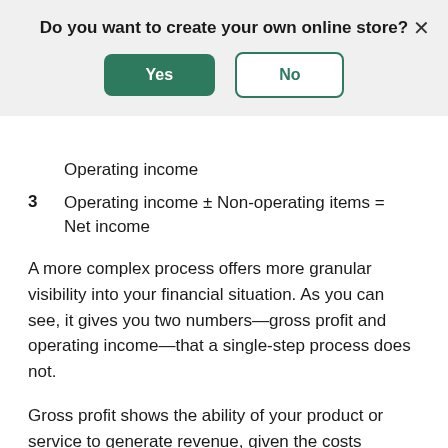Do you want to create your own online store?
[Figure (other): Modal dialog with Yes (green filled button) and No (green outlined button) options, and an X close button in the top right corner.]
Operating income
3  Operating income ± Non-operating items = Net income
A more complex process offers more granular visibility into your financial situation. As you can see, it gives you two numbers—gross profit and operating income—that a single-step process does not.
Gross profit shows the ability of your product or service to generate revenue, given the costs